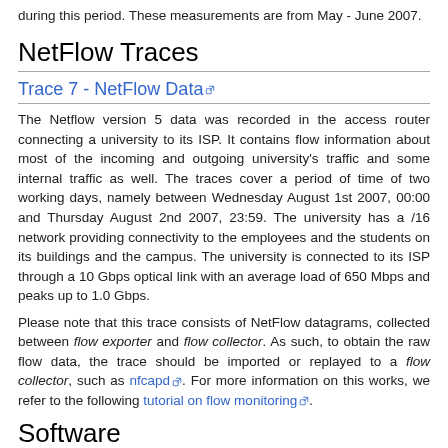during this period. These measurements are from May - June 2007.
NetFlow Traces
Trace 7 - NetFlow Data
The Netflow version 5 data was recorded in the access router connecting a university to its ISP. It contains flow information about most of the incoming and outgoing university's traffic and some internal traffic as well. The traces cover a period of time of two working days, namely between Wednesday August 1st 2007, 00:00 and Thursday August 2nd 2007, 23:59. The university has a /16 network providing connectivity to the employees and the students on its buildings and the campus. The university is connected to its ISP through a 10 Gbps optical link with an average load of 650 Mbps and peaks up to 1.0 Gbps.
Please note that this trace consists of NetFlow datagrams, collected between flow exporter and flow collector. As such, to obtain the raw flow data, the trace should be imported or replayed to a flow collector, such as nfcapd. For more information on this works, we refer to the following tutorial on flow monitoring.
Software